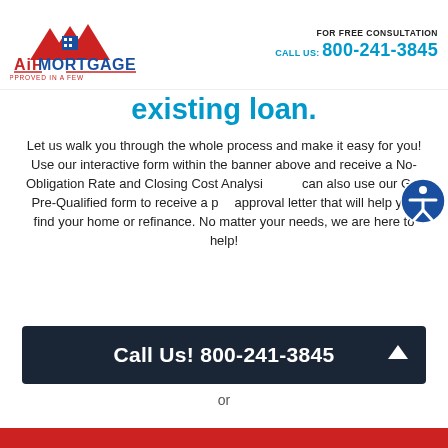[Figure (logo): AiF Mortgage logo with red house/mountain icon and text 'AiF MORTGAGE - APPROVED IN A FEW -']
FOR FREE CONSULTATION
CALL US: 800-241-3845
existing loan.
Let us walk you through the whole process and make it easy for you! Use our interactive form within the banner above and receive a No-Obligation Rate and Closing Cost Analysis. You can also use our Get Pre-Qualified form to receive a pre-approval letter that will help you find your home or refinance. No matter your needs, we are here to help!
Call Us! 800-241-3845
or